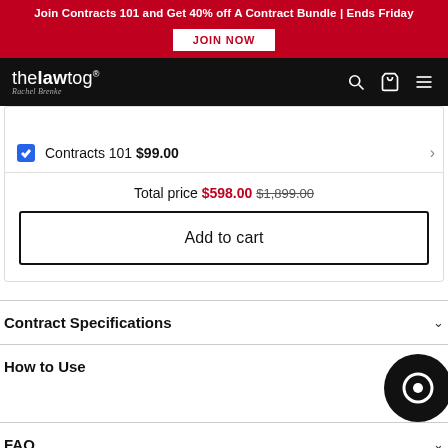Join Contracts 101 and Get 40% off A Contract Bundle | Ends Friday
[Figure (screenshot): The Law Tog website navigation bar with logo, search, cart, and menu icons on black background]
| Contracts 101 $99.00 |
Total price $598.00 $1,899.00
Add to cart
Contract Specifications
How to Use
FAQ